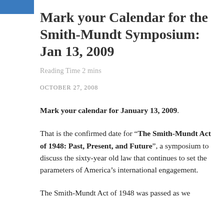Mark your Calendar for the Smith-Mundt Symposium: Jan 13, 2009
Reading Time 2 mins
OCTOBER 27, 2008
Mark your calendar for January 13, 2009.
That is the confirmed date for “The Smith-Mundt Act of 1948: Past, Present, and Future”, a symposium to discuss the sixty-year old law that continues to set the parameters of America’s international engagement.
The Smith-Mundt Act of 1948 was passed as we